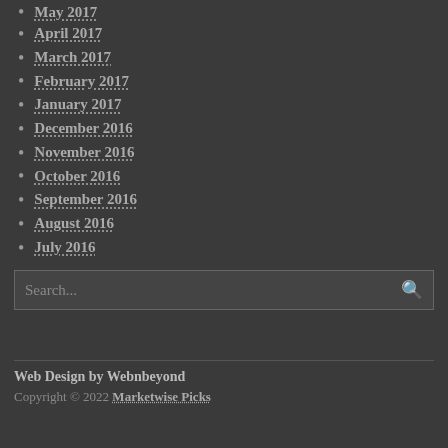May 2017
April 2017
March 2017
February 2017
January 2017
December 2016
November 2016
October 2016
September 2016
August 2016
July 2016
Search...
Web Design by Webnbeyond
Copyright © 2022 Marketwise Picks